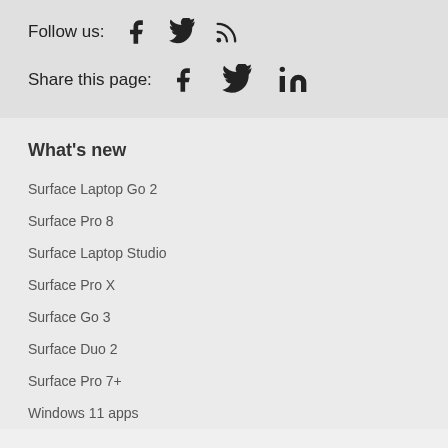Follow us:  [Facebook] [Twitter] [RSS]
Share this page:  [Facebook] [Twitter] [LinkedIn]
What's new
Surface Laptop Go 2
Surface Pro 8
Surface Laptop Studio
Surface Pro X
Surface Go 3
Surface Duo 2
Surface Pro 7+
Windows 11 apps